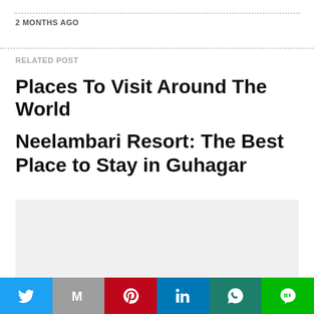2 MONTHS AGO
RELATED POST
Places To Visit Around The World
Neelambari Resort: The Best Place to Stay in Guhagar
[Figure (other): Gray placeholder image block]
[Figure (other): Social sharing bar with Twitter, Gmail/M, Pinterest, LinkedIn, WhatsApp, LINE buttons]